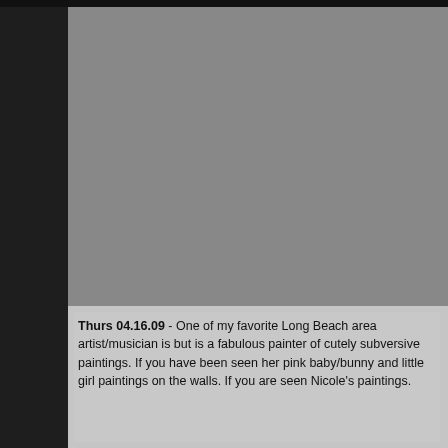[Figure (illustration): Partially visible art show poster with mint/teal background featuring a white cat character in a blue gingham dress playing an accordion, with musical notes. Text reads 'ART SHO...', 'featuring paintings & ar...', 'Nicole Well...', 'when? Saturday Ap...', 'where? 7:00-10:00...', 'SALON PO...', '1085 Redondo - Long Beach - (562...)']
Thurs 04.16.09 - One of my favorite Long Beach area artist/musician is but is a fabulous painter of cutely subversive paintings. If you have been seen her pink baby/bunny and little girl paintings on the walls. If you are seen Nicole's paintings.